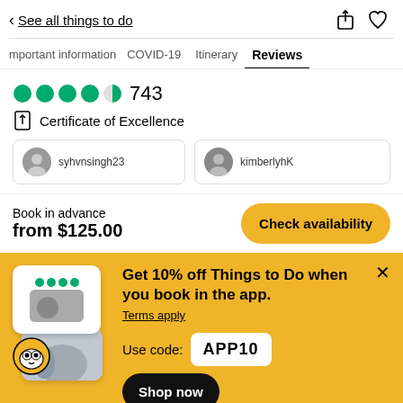< See all things to do
Important information  COVID-19  Itinerary  Reviews
743
Certificate of Excellence
syhvnsingh23   kimberlyhK
Book in advance
from $125.00
Check availability
Get 10% off Things to Do when you book in the app.
Terms apply
Use code: APP10
Shop now